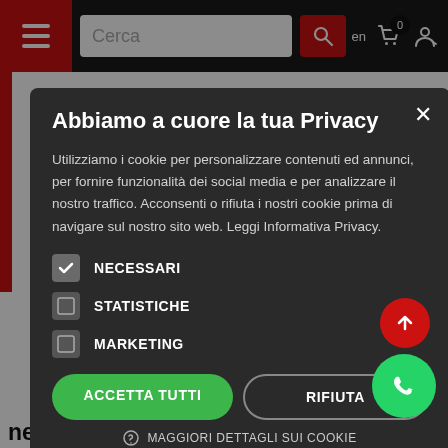[Figure (screenshot): Website navigation bar with hamburger menu, search box, language selector 'en', cart icon with badge '0', and user icon on dark background with red accents.]
[Figure (screenshot): Background website content showing partial text: 'estselling', 'aging"', 'your display', 'etal of the', 'mate size!', 't programs', 'ics), it als', 'minat', 'search and', 'need.' — partially obscured by the modal overlay.]
Abbiamo a cuore la tua Privacy
Utilizziamo i cookie per personalizzare contenuti ed annunci, per fornire funzionalità dei social media e per analizzare il nostro traffico. Acconsenti o rifiuta i nostri cookie prima di navigare sul nostro sito web. Leggi Informativa Privacy.
NECESSARI
STATISTICHE
MARKETING
ACCETTA TUTTI
RIFIUTA
MAGGIORI DETTAGLI SUI COOKIE